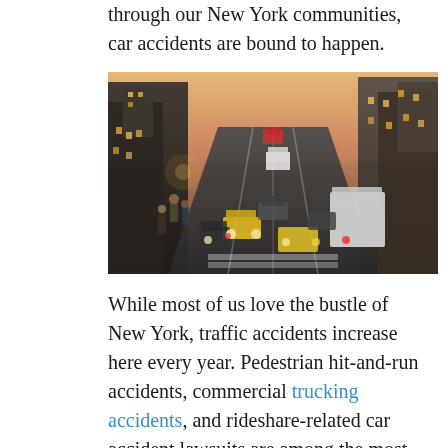through our New York communities, car accidents are bound to happen.
[Figure (photo): Aerial view of heavy traffic on a busy New York City street at dusk, showing multiple lanes of cars, taxis, buses, and motorcycles with motion blur and city lights.]
While most of us love the bustle of New York, traffic accidents increase here every year. Pedestrian hit-and-run accidents, commercial trucking accidents, and rideshare-related car accident lawsuits are among the most common personal injury